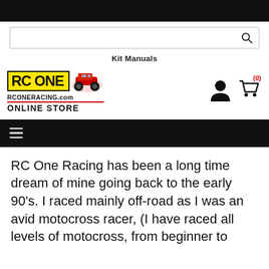[Figure (logo): RC One Racing online store logo with yellow RC ONE text box, monster truck image, RCONERACING.com in bold with red underline, and ONLINE STORE text below]
Kit Manuals
RC One Racing has been a long time dream of mine going back to the early 90's. I raced mainly off-road as I was an avid motocross racer, (I have raced all levels of motocross, from beginner to